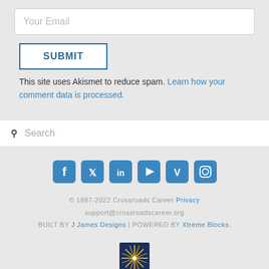Your Email
SUBMIT
This site uses Akismet to reduce spam. Learn how your comment data is processed.
Search
[Figure (infographic): Social media icons: Facebook, Twitter, LinkedIn, YouTube, Vimeo, Instagram — blue rounded square icons]
© 1987-2022 Crossroads Career Privacy
support@crossroadscareer.org
BUILT BY J James Designs | POWERED BY Xtreme Blocks.
[Figure (logo): Crossroads Career logo — dark navy square with gold starburst/compass star design]